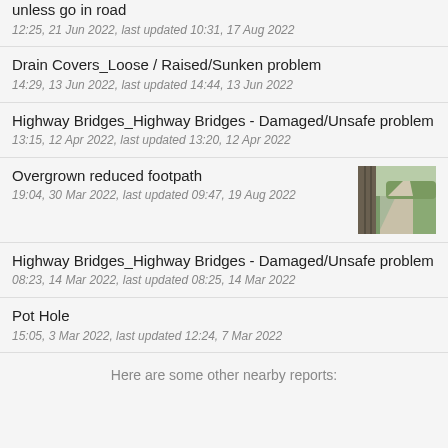unless go in road
12:25, 21 Jun 2022, last updated 10:31, 17 Aug 2022
Drain Covers_Loose / Raised/Sunken problem
14:29, 13 Jun 2022, last updated 14:44, 13 Jun 2022
Highway Bridges_Highway Bridges - Damaged/Unsafe problem
13:15, 12 Apr 2022, last updated 13:20, 12 Apr 2022
Overgrown reduced footpath
19:04, 30 Mar 2022, last updated 09:47, 19 Aug 2022
Highway Bridges_Highway Bridges - Damaged/Unsafe problem
08:23, 14 Mar 2022, last updated 08:25, 14 Mar 2022
Pot Hole
15:05, 3 Mar 2022, last updated 12:24, 7 Mar 2022
Here are some other nearby reports: